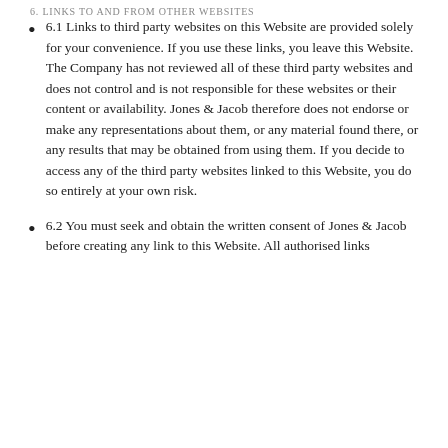6. LINKS TO AND FROM OTHER WEBSITES
6.1 Links to third party websites on this Website are provided solely for your convenience. If you use these links, you leave this Website. The Company has not reviewed all of these third party websites and does not control and is not responsible for these websites or their content or availability. Jones & Jacob therefore does not endorse or make any representations about them, or any material found there, or any results that may be obtained from using them. If you decide to access any of the third party websites linked to this Website, you do so entirely at your own risk.
6.2 You must seek and obtain the written consent of Jones & Jacob before creating any link to this Website. All authorised links